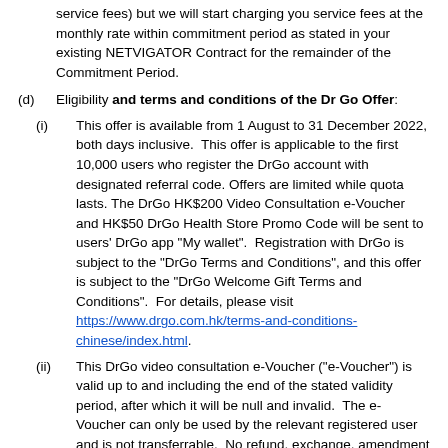service fees) but we will start charging you service fees at the monthly rate within commitment period as stated in your existing NETVIGATOR Contract for the remainder of the Commitment Period.
(d) Eligibility and terms and conditions of the Dr Go Offer:
(i) This offer is available from 1 August to 31 December 2022, both days inclusive. This offer is applicable to the first 10,000 users who register the DrGo account with designated referral code. Offers are limited while quota lasts. The DrGo HK$200 Video Consultation e-Voucher and HK$50 DrGo Health Store Promo Code will be sent to users' DrGo app "My wallet". Registration with DrGo is subject to the “DrGo Terms and Conditions”, and this offer is subject to the “DrGo Welcome Gift Terms and Conditions”. For details, please visit https://www.drgo.com.hk/terms-and-conditions-chinese/index.html.
(ii) This DrGo video consultation e-Voucher (“e-Voucher”) is valid up to and including the end of the stated validity period, after which it will be null and invalid. The e-Voucher can only be used by the relevant registered user and is not transferrable. No refund, exchange, amendment nor cancellation of the e-Voucher will be